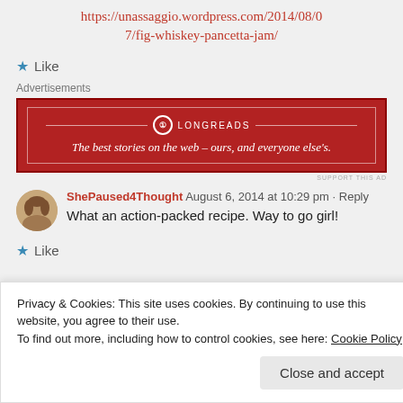https://unassaggio.wordpress.com/2014/08/07/fig-whiskey-pancetta-jam/
★ Like
Advertisements
[Figure (other): Longreads advertisement banner: red background with logo and tagline 'The best stories on the web – ours, and everyone else's.']
SUPPORT THIS AD
ShePaused4Thought August 6, 2014 at 10:29 pm • Reply
What an action-packed recipe. Way to go girl!
★ Like
Privacy & Cookies: This site uses cookies. By continuing to use this website, you agree to their use.
To find out more, including how to control cookies, see here: Cookie Policy
Close and accept